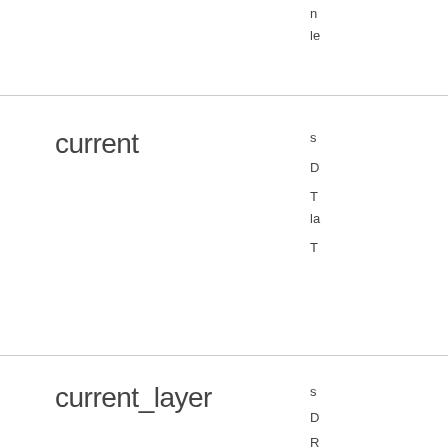n
le
current
s
D
T
la
T
current_layer
s
D
R
t